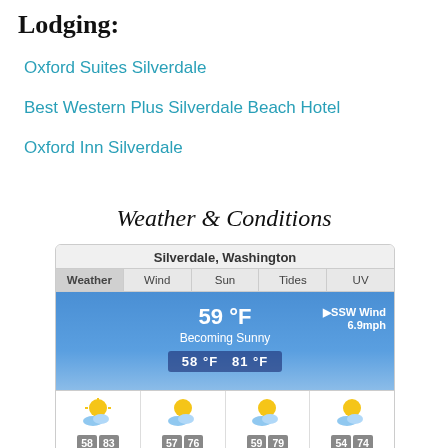Lodging:
Oxford Suites Silverdale
Best Western Plus Silverdale Beach Hotel
Oxford Inn Silverdale
Weather & Conditions
[Figure (screenshot): WillyWeather widget showing Silverdale, Washington weather: 59°F, Becoming Sunny, SSW Wind 6.9mph, Low 58°F High 81°F. Forecast: FRI 58/83, SAT 57/76, SUN 59/79, MON 54/74. Timestamp: 6:48 AM Thu Sep 1.]